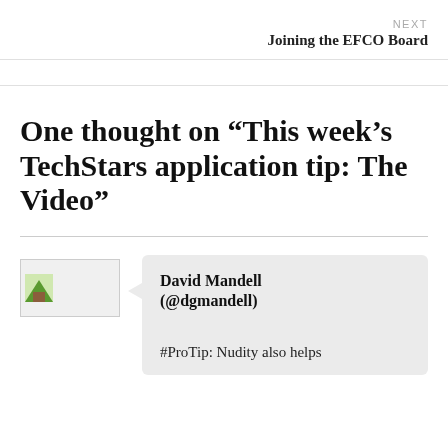NEXT
Joining the EFCO Board
One thought on “This week’s TechStars application tip: The Video”
David Mandell (@dgmandell)
#ProTip: Nudity also helps